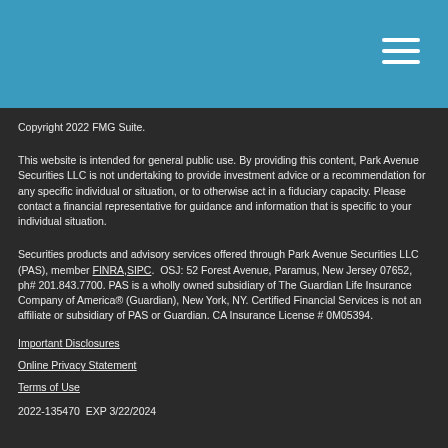Copyright 2022 FMG Suite.
This website is intended for general public use. By providing this content, Park Avenue Securities LLC is not undertaking to provide investment advice or a recommendation for any specific individual or situation, or to otherwise act in a fiduciary capacity. Please contact a financial representative for guidance and information that is specific to your individual situation.
Securities products and advisory services offered through Park Avenue Securities LLC (PAS), member FINRA, SIPC.  OSJ: 52 Forest Avenue, Paramus, New Jersey 07652, ph# 201.843.7700. PAS is a wholly owned subsidiary of The Guardian Life Insurance Company of America® (Guardian), New York, NY. Certified Financial Services is not an affiliate or subsidiary of PAS or Guardian. CA Insurance License # 0M05394.
Important Disclosures
Online Privacy Statement
Terms of Use
2022-135470  EXP 3/22/2024